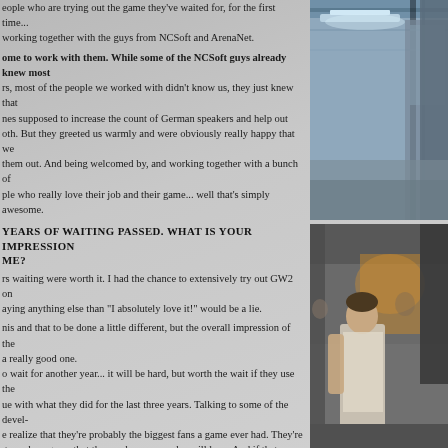eople who are trying out the game they've waited for, for the first time... working together with the guys from NCSoft and ArenaNet.
Oh, am
ome to work with them. While some of the NCSoft guys already knew most rs, most of the people we worked with didn't know us, they just knew that nes supposed to increase the count of German speakers and help out oth. But they greeted us warmly and were obviously really happy that we them out. And being welcomed by, and working together with a bunch of ple who really love their job and their game... well that's simply awesome.
YEARS OF WAITING PASSED. WHAT IS YOUR IMPRESSION ME?
rs waiting were worth it. I had the chance to extensively try out GW2 on aying anything else than "I absolutely love it!" would be a lie.
nis and that to be done a little different, but the overall impression of the a really good one.
o wait for another year... it will be hard, but worth the wait if they use the ue with what they did for the last three years. Talking to some of the devel- e realize that they're probably the biggest fans a game ever had. They're to make a game that they and everyone else will love. And if that means additional time, then they need it and it will be spent wisely.
T BE TIRED AFTER DAYS OF STANDING IN A CROWDED, OTH. TOTALLY WORTH IT?
ely worth it, yes. You're right, it's really tiring and I think that everyone was oit happy that it's over now.
ast and really enjoyed working the show, but while morale was staying high y climbing even higher it was noticeable how the days took their toll on
[Figure (photo): Indoor convention/trade show photo - top portion showing ceiling with lighting and booth structure]
[Figure (photo): Indoor convention photo - bottom portion showing a person standing in a crowded booth area]